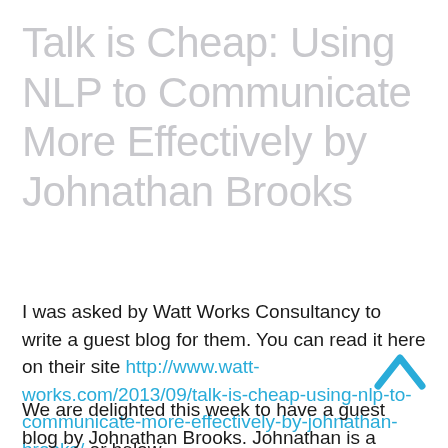Talk is Cheap: Using NLP to Communicate More Effectively by Johnathan Brooks
I was asked by Watt Works Consultancy to write a guest blog for them. You can read it here on their site http://www.watt-works.com/2013/09/talk-is-cheap-using-nlp-to-communicate-more-effectively-by-johnathan-brooks/ or below.
We are delighted this week to have a guest blog by Johnathan Brooks. Johnathan is a